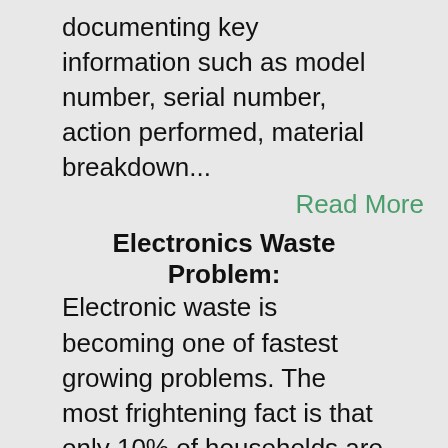documenting key information such as model number, serial number, action performed, material breakdown...
Read More
Electronics Waste Problem:
Electronic waste is becoming one of fastest growing problems. The most frightening fact is that only 10% of households are currently recycling their unwanted electronics. Electronics waste carries toxic...
Read More
Environmental Commitment:
Free Recycling